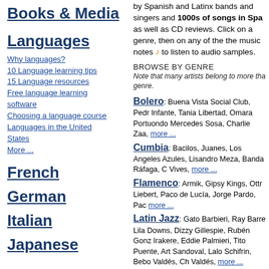Books & Media
Languages
Why languages?
10 Language learning tips
15 Language resources
Free language learning software
Choosing a language course
Languages in the United States
More ...
French
German
Italian
Japanese
by Spanish and Latinx bands and singers and 1000s of songs in Spa as well as CD reviews. Click on a genre, then on any of the the music notes ♪ to listen to audio samples.
BROWSE BY GENRE
Note that many artists belong to more than one genre.
Bolero: Buena Vista Social Club, Pedro Infante, Tania Libertad, Omara Portuondo, Mercedes Sosa, Charlie Zaa, more ...
Cumbia: Bacilos, Juanes, Los Angeles Azules, Lisandro Meza, Banda Ráfaga, Carlos Vives, more ...
Flamenco: Armik, Gipsy Kings, Ottmar Liebert, Paco de Lucía, Jorge Pardo, Paco more ...
Latin Jazz: Gato Barbieri, Ray Barretto, Lila Downs, Dizzy Gillespie, Rubén González, Irakere, Eddie Palmieri, Tito Puente, Arturo Sandoval, Lalo Schifrin, Bebo Valdés, Chucho Valdés, more ...
Latin Pop: Marc Anthony, Christina Aguilera, David Bisbal, Chayanne, Gloria Estefan, Enrique Iglesias, Jennifer Lopez,